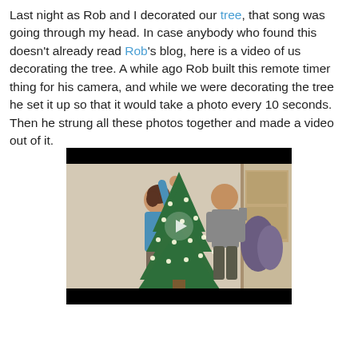Last night as Rob and I decorated our tree, that song was going through my head. In case anybody who found this doesn't already read Rob's blog, here is a video of us decorating the tree. A while ago Rob built this remote timer thing for his camera, and while we were decorating the tree he set it up so that it would take a photo every 10 seconds. Then he strung all these photos together and made a video out of it.
[Figure (photo): Video player showing two people decorating a Christmas tree indoors. A woman in a blue top reaches up toward the tree on the left, and a man in a grey shirt stands on the right. A play button overlay is visible in the center. The video player has black bars at top and bottom.]